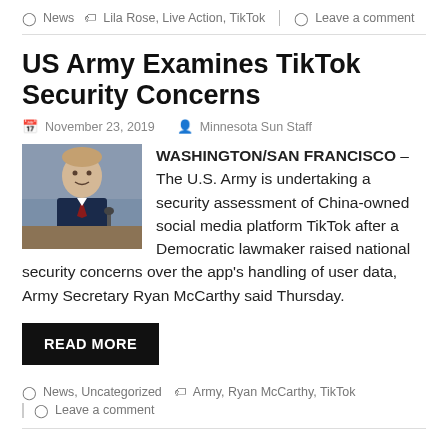News   Lila Rose, Live Action, TikTok   Leave a comment
US Army Examines TikTok Security Concerns
November 23, 2019   Minnesota Sun Staff
[Figure (photo): Photo of a man in a suit seated at a hearing table]
WASHINGTON/SAN FRANCISCO – The U.S. Army is undertaking a security assessment of China-owned social media platform TikTok after a Democratic lawmaker raised national security concerns over the app's handling of user data, Army Secretary Ryan McCarthy said Thursday.
READ MORE
News, Uncategorized   Army, Ryan McCarthy, TikTok   Leave a comment